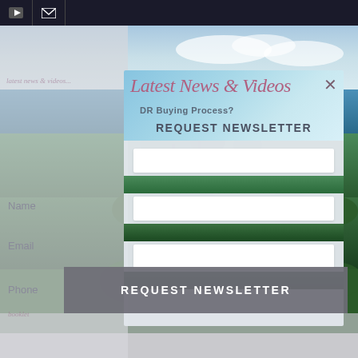[Figure (screenshot): Tropical beach/jungle background scene with sky, palm trees and ocean visible behind a modal dialog overlay]
Latest News & Videos
DR Buying Process?
REQUEST NEWSLETTER
Name
Email
Phone
REQUEST NEWSLETTER